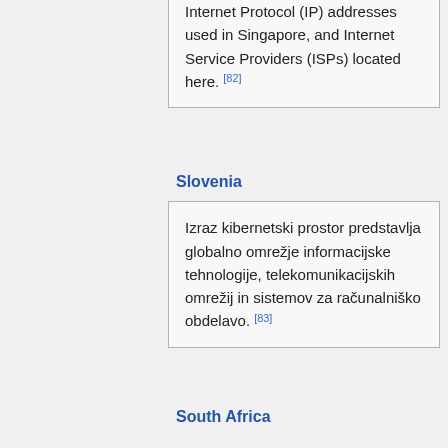Internet Protocol (IP) addresses used in Singapore, and Internet Service Providers (ISPs) located here. [82]
Slovenia
Izraz kibernetski prostor predstavlja globalno omrežje informacijske tehnologije, telekomunikacijskih omrežij in sistemov za računalniško obdelavo. [83]
South Africa